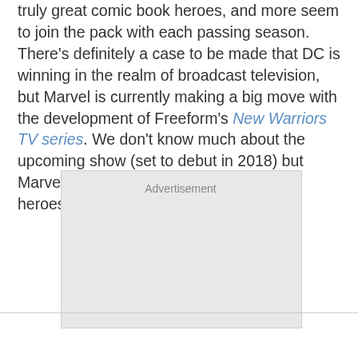truly great comic book heroes, and more seem to join the pack with each passing season. There's definitely a case to be made that DC is winning in the realm of broadcast television, but Marvel is currently making a big move with the development of Freeform's New Warriors TV series. We don't know much about the upcoming show (set to debut in 2018) but Marvel has finally revealed exactly which heroes we'll see.
[Figure (other): Advertisement placeholder box with grey background]